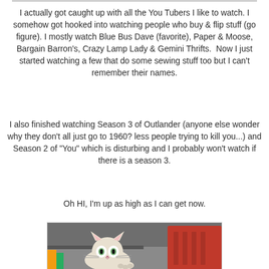I actually got caught up with all the You Tubers I like to watch. I somehow got hooked into watching people who buy & flip stuff (go figure). I mostly watch Blue Bus Dave (favorite), Paper & Moose, Bargain Barron's, Crazy Lamp Lady & Gemini Thrifts.  Now I just started watching a few that do some sewing stuff too but I can't remember their names.
I also finished watching Season 3 of Outlander (anyone else wonder why they don't all just go to 1960? less people trying to kill you...) and Season 2 of "You" which is disturbing and I probably won't watch if there is a season 3.
Oh HI, I'm up as high as I can get now.
[Figure (photo): A cat looking at the camera, positioned high up, with a red laundry basket visible and a grey wall in the background.]